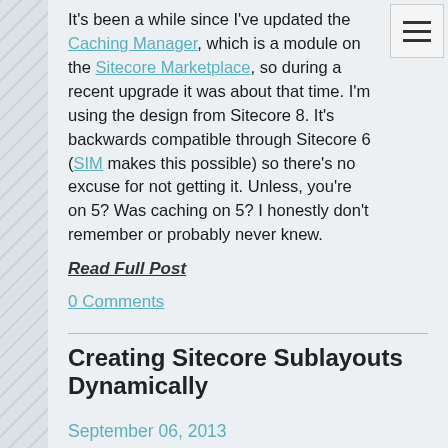It's been a while since I've updated the Caching Manager, which is a module on the Sitecore Marketplace, so during a recent upgrade it was about that time. I'm using the design from Sitecore 8. It's backwards compatible through Sitecore 6 (SIM makes this possible) so there's no excuse for not getting it. Unless, you're on 5? Was caching on 5? I honestly don't remember or probably never knew.
Read Full Post
0 Comments
Creating Sitecore Sublayouts Dynamically
September 06, 2013
Tags: Caching , Sublayouts
Preface
On a recent project I was looking to replace some existing infrastructure that built a sidebar on a page using a list of content items (non-page items) that